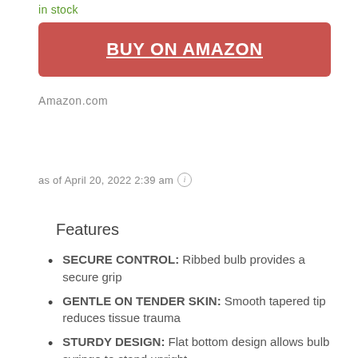in stock
BUY ON AMAZON
Amazon.com
as of April 20, 2022 2:39 am ⓘ
Features
SECURE CONTROL: Ribbed bulb provides a secure grip
GENTLE ON TENDER SKIN: Smooth tapered tip reduces tissue trauma
STURDY DESIGN: Flat bottom design allows bulb syringe to stand upright